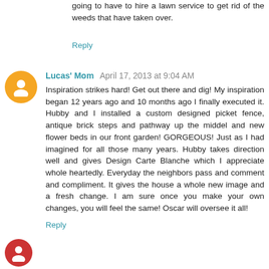going to have to hire a lawn service to get rid of the weeds that have taken over.
Reply
Lucas' Mom  April 17, 2013 at 9:04 AM
Inspiration strikes hard! Get out there and dig! My inspiration began 12 years ago and 10 months ago I finally executed it. Hubby and I installed a custom designed picket fence, antique brick steps and pathway up the middel and new flower beds in our front garden! GORGEOUS! Just as I had imagined for all those many years. Hubby takes direction well and gives Design Carte Blanche which I appreciate whole heartedly. Everyday the neighbors pass and comment and compliment. It gives the house a whole new image and a fresh change. I am sure once you make your own changes, you will feel the same! Oscar will oversee it all!
Reply